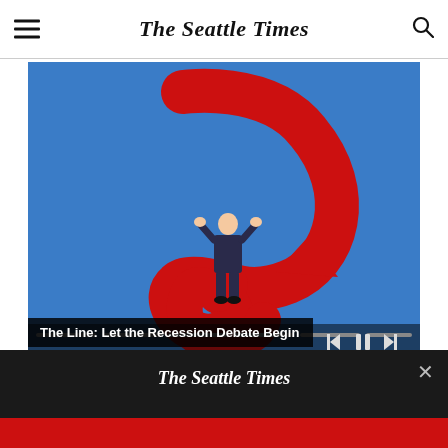The Seattle Times
[Figure (illustration): Animated illustration on blue background showing a large red downward-curling arrow (shaped like a question mark/spiral) wrapping around a small suited figure with hands on head. Video player controls visible at bottom including skip-back, pause, and skip-forward buttons, plus a progress bar.]
The Line: Let the Recession Debate Begin
[Figure (screenshot): Dark subscription banner at the bottom showing The Seattle Times logo in white on black background, with a close (X) button in the top right, and a partially visible red promotional bar at the very bottom.]